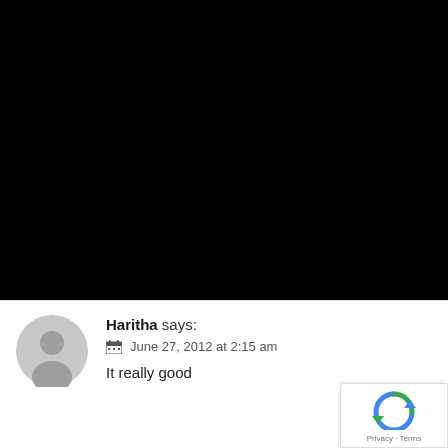[Figure (photo): Large black rectangle occupying the top portion of the page]
Haritha says:
June 27, 2012 at 2:15 am
It really good